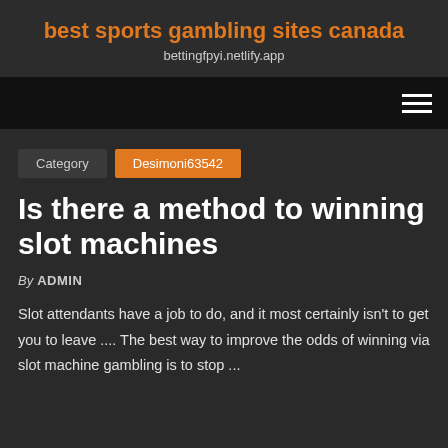best sports gambling sites canada
bettingfpyi.netlify.app
Category  Desimoni63542
Is there a method to winning slot machines
By ADMIN
Slot attendants have a job to do, and it most certainly isn't to get you to leave .... The best way to improve the odds of winning via slot machine gambling is to stop ...